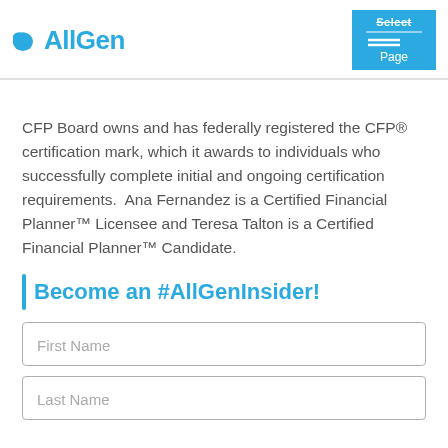AllGen | Select Page
CFP Board owns and has federally registered the CFP® certification mark, which it awards to individuals who successfully complete initial and ongoing certification requirements.  Ana Fernandez is a Certified Financial Planner™ Licensee and Teresa Talton is a Certified Financial Planner™ Candidate.
Become an #AllGenInsider!
First Name
Last Name